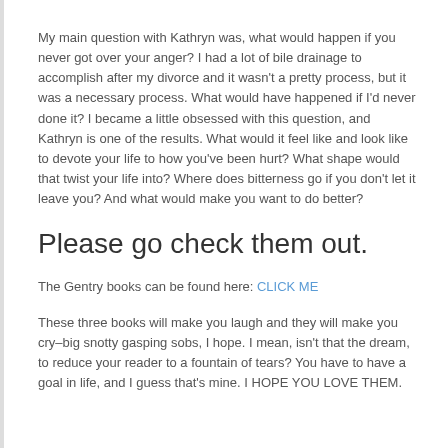My main question with Kathryn was, what would happen if you never got over your anger? I had a lot of bile drainage to accomplish after my divorce and it wasn't a pretty process, but it was a necessary process. What would have happened if I'd never done it? I became a little obsessed with this question, and Kathryn is one of the results. What would it feel like and look like to devote your life to how you've been hurt? What shape would that twist your life into? Where does bitterness go if you don't let it leave you? And what would make you want to do better?
Please go check them out.
The Gentry books can be found here: CLICK ME
These three books will make you laugh and they will make you cry–big snotty gasping sobs, I hope. I mean, isn't that the dream, to reduce your reader to a fountain of tears? You have to have a goal in life, and I guess that's mine. I HOPE YOU LOVE THEM.